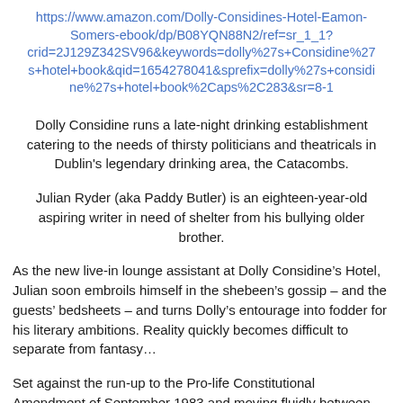https://www.amazon.com/Dolly-Considines-Hotel-Eamon-Somers-ebook/dp/B08YQN88N2/ref=sr_1_1?crid=2J129Z342SV96&keywords=dolly%27s+Considine%27s+hotel+book&qid=1654278041&sprefix=dolly%27s+considine%27s+hotel+book%2Caps%2C283&sr=8-1
Dolly Considine runs a late-night drinking establishment catering to the needs of thirsty politicians and theatricals in Dublin's legendary drinking area, the Catacombs.
Julian Ryder (aka Paddy Butler) is an eighteen-year-old aspiring writer in need of shelter from his bullying older brother.
As the new live-in lounge assistant at Dolly Considine’s Hotel, Julian soon embroils himself in the shebeen’s gossip – and the guests’ bedsheets – and turns Dolly’s entourage into fodder for his literary ambitions. Reality quickly becomes difficult to separate from fantasy…
Set against the run-up to the Pro-life Constitutional Amendment of September 1983 and moving fluidly between the 1950s of Dolly's youth and Julian's Summer of